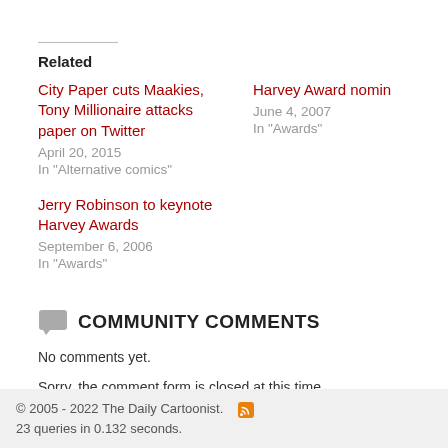Related
City Paper cuts Maakies, Tony Millionaire attacks paper on Twitter
April 20, 2015
In "Alternative comics"
Harvey Award nomin…
June 4, 2007
In "Awards"
Jerry Robinson to keynote Harvey Awards
September 6, 2006
In "Awards"
COMMUNITY COMMENTS
No comments yet.
Sorry, the comment form is closed at this time.
© 2005 - 2022 The Daily Cartoonist.   23 queries in 0.132 seconds.